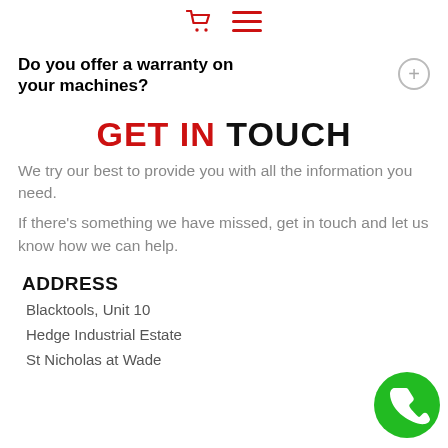[shopping cart icon] [hamburger menu icon]
Do you offer a warranty on your machines?
GET IN TOUCH
We try our best to provide you with all the information you need.
If there's something we have missed, get in touch and let us know how we can help.
ADDRESS
Blacktools, Unit 10
Hedge Industrial Estate
St Nicholas at Wade
[Figure (illustration): Green circular phone/call button icon in bottom right corner]